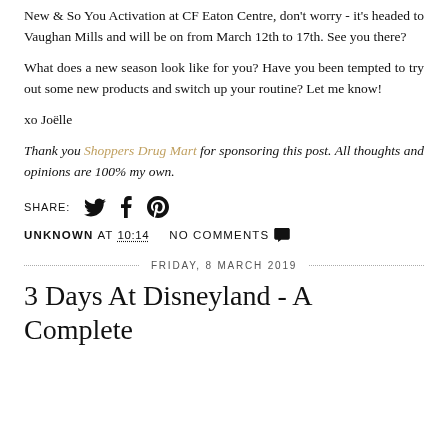New & So You Activation at CF Eaton Centre, don't worry - it's headed to Vaughan Mills and will be on from March 12th to 17th. See you there?
What does a new season look like for you? Have you been tempted to try out some new products and switch up your routine? Let me know!
xo Joëlle
Thank you Shoppers Drug Mart for sponsoring this post. All thoughts and opinions are 100% my own.
SHARE: [Twitter] [Facebook] [Pinterest]
UNKNOWN AT 10:14   NO COMMENTS
FRIDAY, 8 MARCH 2019
3 Days At Disneyland - A Complete